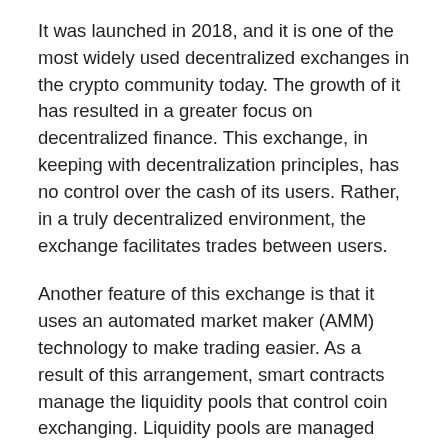It was launched in 2018, and it is one of the most widely used decentralized exchanges in the crypto community today. The growth of it has resulted in a greater focus on decentralized finance. This exchange, in keeping with decentralization principles, has no control over the cash of its users. Rather, in a truly decentralized environment, the exchange facilitates trades between users.
Another feature of this exchange is that it uses an automated market maker (AMM) technology to make trading easier. As a result of this arrangement, smart contracts manage the liquidity pools that control coin exchanging. Liquidity pools are managed using a typical order book mechanism in other centralized exchanges.
Uniswap employs the AMM method to set asset prices using a pricing algorithm. This system incentivizes